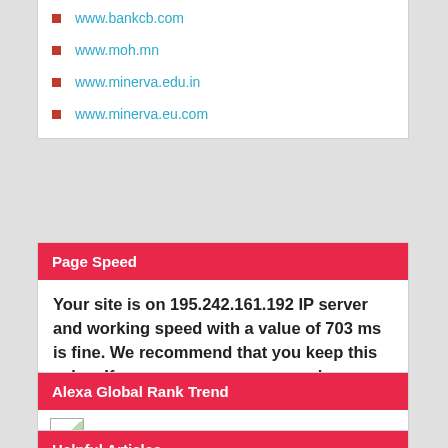www.bankcb.com
www.moh.mn
www.minerva.edu.in
www.minerva.eu.com
Page Speed
Your site is on 195.242.161.192 IP server and working speed with a value of 703 ms is fine. We recommend that you keep this value. If necessary, you can speed up even more by making new studies.
Alexa Global Rank Trend
[Figure (other): Broken/loading image placeholder for Alexa Global Rank Trend chart]
Helpful Articles
What is the effect of Pagerank rankings?...